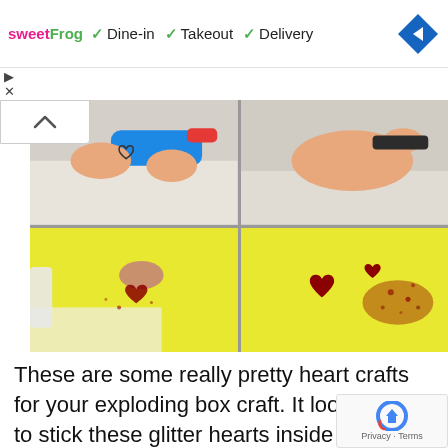[Figure (screenshot): Advertisement banner for sweetFrog restaurant showing Dine-in, Takeout, and Delivery options with green checkmarks and a blue navigation diamond icon]
[Figure (photo): Four-panel image grid showing steps for making glitter hearts craft: top-left shows hands using a hot glue gun with a heart cookie cutter, top-right shows hands tracing/cutting, bottom-left shows applying glitter on yellow surface, bottom-right shows finished red glitter hearts on yellow surface with scattered glitter]
These are some really pretty heart crafts for your exploding box craft. It looks great to stick these glitter hearts inside the exploding box craft. You can make these glitter glitter hearts by tracing the shapes on the tracing paper. Now cut along the outer boundary of the hearts made on the tracing